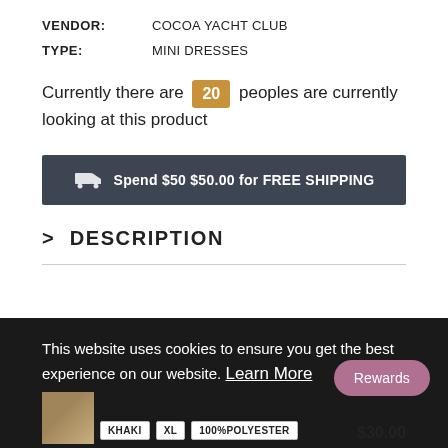VENDOR: COCOA YACHT CLUB
TYPE: MINI DRESSES
Currently there are 20 peoples are currently looking at this product
Spend $50 $50.00 for FREE SHIPPING
DESCRIPTION
This website uses cookies to ensure you get the best experience on our website. Learn More
Rewards
KHAKI  XL  100%POLYESTER  $30.00